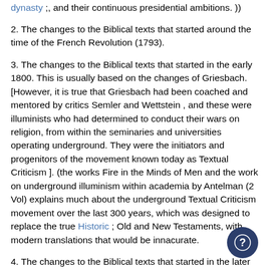dynasty ;, and their continuous presidential ambitions. ))
2. The changes to the Biblical texts that started around the time of the French Revolution (1793).
3. The changes to the Biblical texts that started in the early 1800. This is usually based on the changes of Griesbach. [However, it is true that Griesbach had been coached and mentored by critics Semler and Wettstein , and these were illuminists who had determined to conduct their wars on religion, from within the seminaries and universities operating underground. They were the initiators and progenitors of the movement known today as Textual Criticism ]. (the works Fire in the Minds of Men and the work on underground illuminism within academia by Antelman (2 Vol) explains much about the underground Textual Criticism movement over the last 300 years, which was designed to replace the true Historic ; Old and New Testaments, with modern translations that would be innacurate.
4. The changes to the Biblical texts that started in the later 1800s. These are the changes introduced by Westcott and